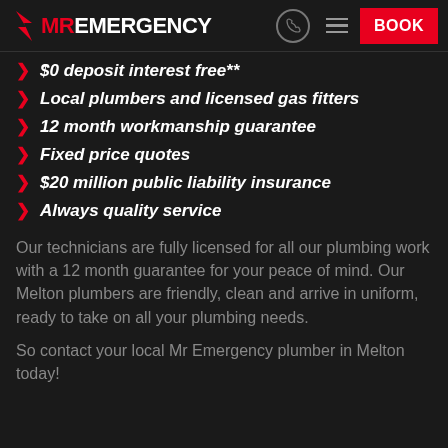MR EMERGENCY — BOOK
$0 deposit interest free**
Local plumbers and licensed gas fitters
12 month workmanship guarantee
Fixed price quotes
$20 million public liability insurance
Always quality service
Our technicians are fully licensed for all our plumbing work with a 12 month guarantee for your peace of mind. Our Melton plumbers are friendly, clean and arrive in uniform, ready to take on all your plumbing needs.
So contact your local Mr Emergency plumber in Melton today!